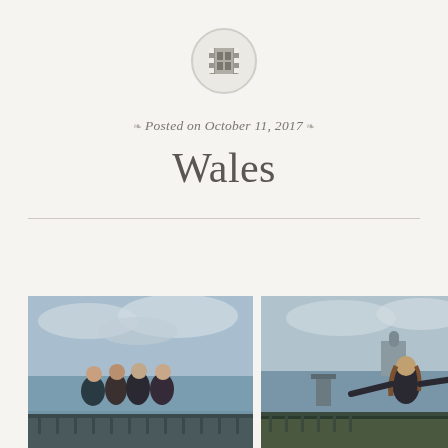[Figure (logo): Film/gallery icon inside a circular border on a light beige background]
Posted on October 11, 2017
Wales
[Figure (photo): Group of four young women standing by a railing with a waterfront view behind them on a cloudy day]
[Figure (photo): A young woman standing by a railing with arms outstretched, waterfront and modern building in background on a cloudy day]